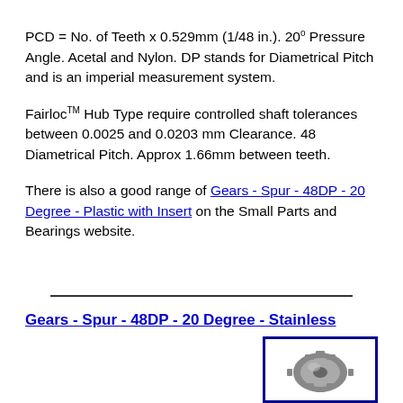PCD = No. of Teeth x 0.529mm (1/48 in.). 20° Pressure Angle. Acetal and Nylon. DP stands for Diametrical Pitch and is an imperial measurement system.
Fairloc™ Hub Type require controlled shaft tolerances between 0.0025 and 0.0203 mm Clearance. 48 Diametrical Pitch. Approx 1.66mm between teeth.
There is also a good range of Gears - Spur - 48DP - 20 Degree - Plastic with Insert on the Small Parts and Bearings website.
Gears - Spur - 48DP - 20 Degree - Stainless
[Figure (photo): A stainless steel spur gear shown in a blue-bordered box]